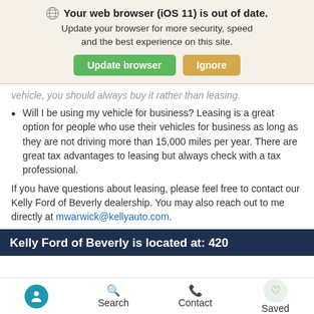[Figure (screenshot): Browser update notification banner with globe icon, bold title 'Your web browser (iOS 11) is out of date.', subtitle text, and two buttons: 'Update browser' (green) and 'Ignore' (tan/gold)]
vehicle, you should always buy it rather than leasing.
Will I be using my vehicle for business? Leasing is a great option for people who use their vehicles for business as long as they are not driving more than 15,000 miles per year. There are great tax advantages to leasing but always check with a tax professional.
If you have questions about leasing, please feel free to contact our Kelly Ford of Beverly dealership. You may also reach out to me directly at mwarwick@kellyauto.com.
Kelly Ford of Beverly is located at: 420
Accessibility  Search  Contact  Saved